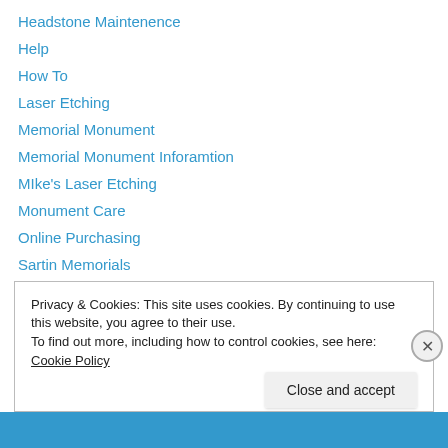Headstone Maintenence
Help
How To
Laser Etching
Memorial Monument
Memorial Monument Inforamtion
MIke's Laser Etching
Monument Care
Online Purchasing
Sartin Memorials
Traditional Monument
Uncategorized
Privacy & Cookies: This site uses cookies. By continuing to use this website, you agree to their use. To find out more, including how to control cookies, see here: Cookie Policy
Close and accept